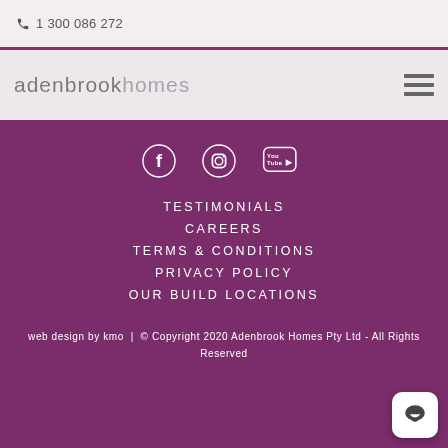1 300 086 272
[Figure (logo): Adenbrook Homes text logo in grey/light purple tones]
[Figure (other): Hamburger menu icon (three horizontal lines)]
[Figure (other): Social media icons: Facebook, Instagram, YouTube]
TESTIMONIALS
CAREERS
TERMS & CONDITIONS
PRIVACY POLICY
OUR BUILD LOCATIONS
web design by kmo  |  © Copyright 2020 Adenbrook Homes Pty Ltd - All Rights Reserved